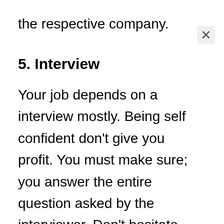the respective company.
5. Interview
Your job depends on a interview mostly. Being self confident don't give you profit. You must make sure; you answer the entire question asked by the interviewer. Don't hesitate while answering and if all goes good. You will be selected for